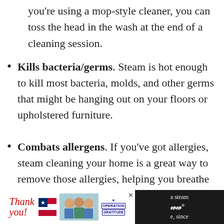you're using a mop-style cleaner, you can toss the head in the wash at the end of a cleaning session.
Kills bacteria/germs. Steam is hot enough to kill most bacteria, molds, and other germs that might be hanging out on your floors or upholstered furniture.
Combats allergens. If you've got allergies, steam cleaning your home is a great way to remove those allergies, helping you breathe easier.
Less expensive in the long run. Although
[Figure (screenshot): Advertisement banner at bottom: 'Thank you!' text with American flag graphic and Operation Gratitude logo photo, dark background with partial text visible on the right]